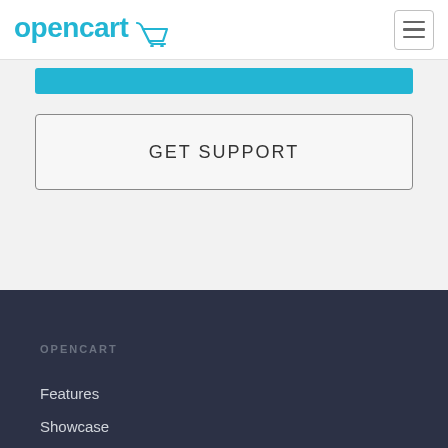opencart [logo with cart icon] [hamburger menu]
[Figure (screenshot): Blue button bar (partially visible, cropped) above a GET SUPPORT button on a light gray background]
GET SUPPORT
OPENCART
Features
Showcase